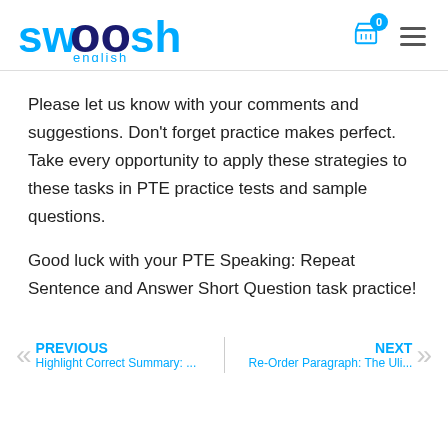[Figure (logo): Swoosh English logo with blue text and dark blue 'oo' letters, with 'english' subtitle]
Please let us know with your comments and suggestions. Don't forget practice makes perfect. Take every opportunity to apply these strategies to these tasks in PTE practice tests and sample questions.
Good luck with your PTE Speaking: Repeat Sentence and Answer Short Question task practice!
PREVIOUS
Highlight Correct Summary: ...
NEXT
Re-Order Paragraph: The Uli...